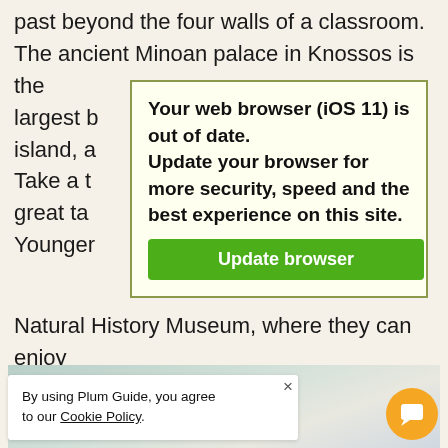past beyond the four walls of a classroom. The ancient Minoan palace in Knossos is the largest b... he island, a... Take a t... he great ta... Younger...
[Figure (screenshot): Browser warning popup overlay with yellow-tinted background and olive border. Text reads: 'Your web browser (iOS 11) is out of date. Update your browser for more security, speed and the best experience on this site.' with a green 'Update browser' button.]
Natural History Museum, where they can enjoy interactive exhibits, see fossils, and experience an earthquake simulator.
[Figure (photo): Partial photo of an interior space visible behind cookie banner, appears to be a modern building interior.]
By using Plum Guide, you agree to our Cookie Policy.
[Figure (other): Yellow circular chat button with white chat icon in bottom right corner.]